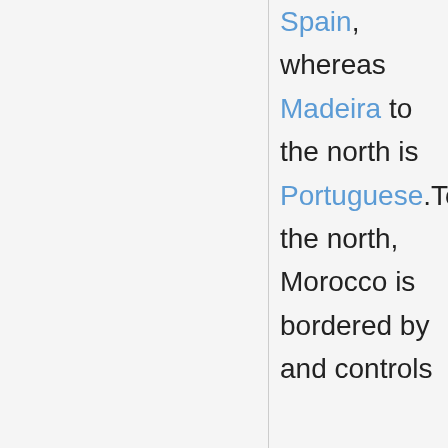Spain, whereas Madeira to the north is Portuguese.To the north, Morocco is bordered by and controls